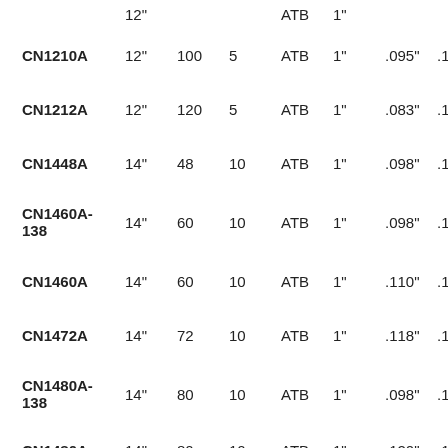| Model | Dia | Teeth | Hook | Type | Plate | Kerf | ... |
| --- | --- | --- | --- | --- | --- | --- | --- |
| CN1210A | 12" | 100 | 5 | ATB | 1" | .095" | .125 |
| CN1212A | 12" | 120 | 5 | ATB | 1" | .083" | .118 |
| CN1448A | 14" | 48 | 10 | ATB | 1" | .098" | .138 |
| CN1460A-138 | 14" | 60 | 10 | ATB | 1" | .098" | .135 |
| CN1460A | 14" | 60 | 10 | ATB | 1" | .110" | .160 |
| CN1472A | 14" | 72 | 10 | ATB | 1" | .118" | .173 |
| CN1480A-138 | 14" | 80 | 10 | ATB | 1" | .098" | .138 |
| CN1480A | 14" | 80 | 10 | ATB | 1" | .120" | .176 |